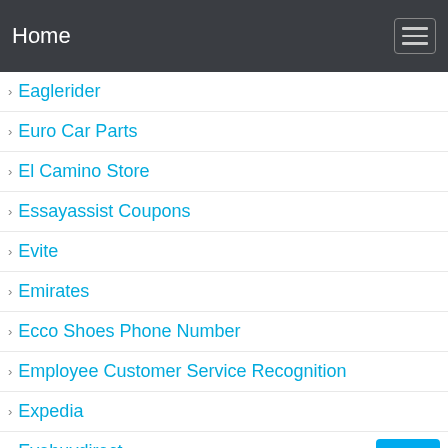Home
Eaglerider
Euro Car Parts
El Camino Store
Essayassist Coupons
Evite
Emirates
Ecco Shoes Phone Number
Employee Customer Service Recognition
Expedia
Eyebuydirect
Elite Dangerous
Extreme Dog Fence Coupon